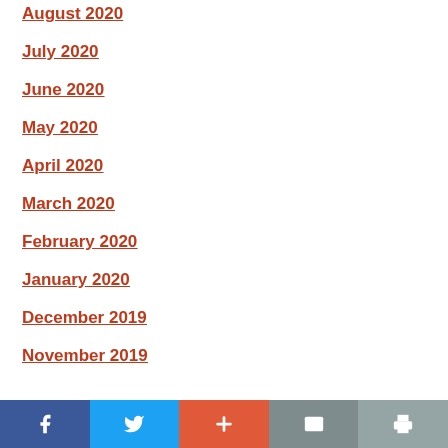August 2020
July 2020
June 2020
May 2020
April 2020
March 2020
February 2020
January 2020
December 2019
November 2019
Facebook Twitter + Mail Print